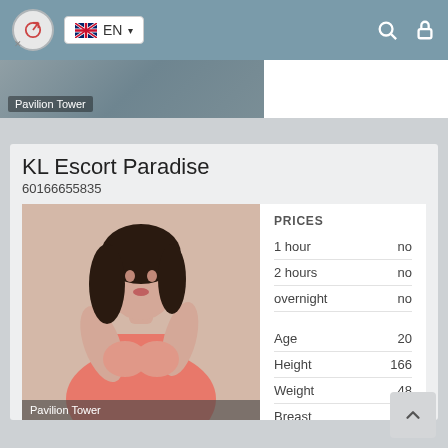EN
Pavilion Tower
KL Escort Paradise
60166655835
[Figure (photo): Young woman in pink/coral bralette top, dark hair, posing against light background. Caption: Pavilion Tower]
| PRICES |  |
| 1 hour | no |
| 2 hours | no |
| overnight | no |
| Age | 20 |
| Height | 166 |
| Weight | 48 |
| Breast | 4 |